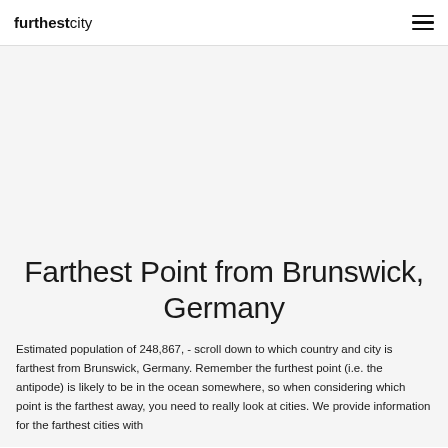furthestcity
Farthest Point from Brunswick, Germany
Estimated population of 248,867, - scroll down to which country and city is farthest from Brunswick, Germany. Remember the furthest point (i.e. the antipode) is likely to be in the ocean somewhere, so when considering which point is the farthest away, you need to really look at cities. We provide information for the farthest cities with